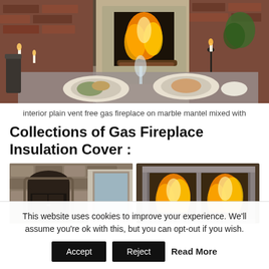[Figure (photo): Outdoor dining table set with plates of food and wine glasses in front of a gas fireplace with flames, candles decorating the scene, brick wall visible]
interior plain vent free gas fireplace on marble mantel mixed with
Collections of Gas Fireplace Insulation Cover :
[Figure (photo): Stone/brick fireplace surround with arched opening, indoor setting]
[Figure (photo): Gas fireplace with visible flames behind glass doors, metal frame]
This website uses cookies to improve your experience. We'll assume you're ok with this, but you can opt-out if you wish.
Accept   Reject   Read More